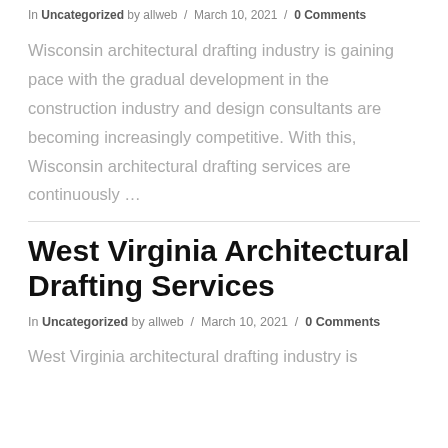In Uncategorized by allweb / March 10, 2021 / 0 Comments
Wisconsin architectural drafting industry is gaining pace with the gradual development in the construction industry and design consultants are becoming increasingly competitive. With this, Wisconsin architectural drafting services are continuously …
West Virginia Architectural Drafting Services
In Uncategorized by allweb / March 10, 2021 / 0 Comments
West Virginia architectural drafting industry is